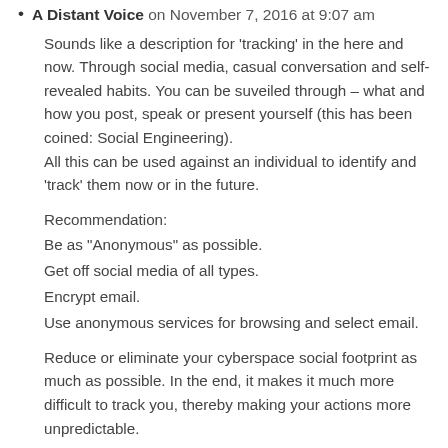A Distant Voice on November 7, 2016 at 9:07 am
Sounds like a description for ‘tracking’ in the here and now. Through social media, casual conversation and self-revealed habits. You can be suveiled through – what and how you post, speak or present yourself (this has been coined: Social Engineering).
All this can be used against an individual to identify and ‘track’ them now or in the future.
Recommendation:
Be as “Anonymous” as possible.
Get off social media of all types.
Encrypt email.
Use anonymous services for browsing and select email.
Reduce or eliminate your cyberspace social footprint as much as possible. In the end, it makes it much more difficult to track you, thereby making your actions more unpredictable.